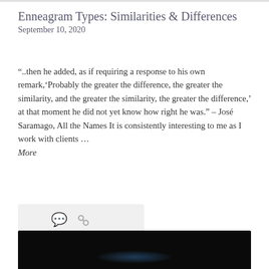Enneagram Types: Similarities & Differences
September 10, 2020
“..then he added, as if requiring a response to his own remark,‘Probably the greater the difference, the greater the similarity, and the greater the similarity, the greater the difference,’ at that moment he did not yet know how right he was.” – José Saramago, All the Names It is consistently interesting to me as I work with clients ...
More
[Figure (other): Icon bar with comment bubble icon and chain/link icon on a light grey background]
[Figure (photo): Dark/black image at the bottom of the page, possibly a video thumbnail with a faint blue-teal glow at center bottom]